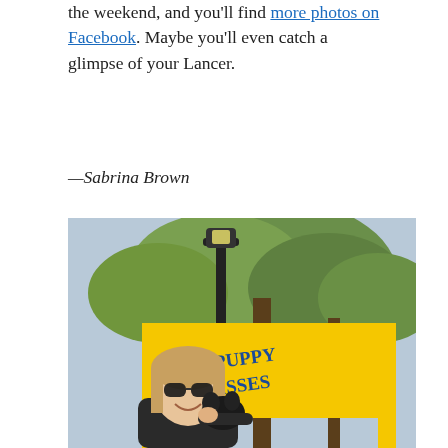the weekend, and you'll find more photos on Facebook. Maybe you'll even catch a glimpse of your Lancer.
—Sabrina Brown
[Figure (photo): A smiling young woman with long blonde hair and sunglasses holds a dark puppy. Behind her is a large yellow sign frame reading '$1 PUPPY KISSES' in blue letters, with a black lamp post and green trees in the background.]